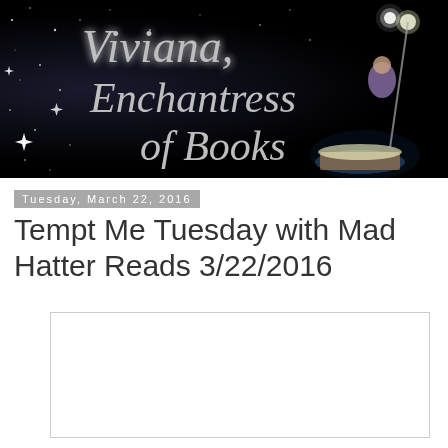[Figure (illustration): Blog header banner for 'Viviana, Enchantress of Books' — black background with stars and sparkles, cursive silver/gray text reading 'Viviana, Enchantress of Books', and an illustrated fantasy woman in blue holding a glowing staff with an open magical book at her feet on the right side.]
Tuesday, March 22, 2016
Tempt Me Tuesday with Mad Hatter Reads 3/22/2016
[Figure (photo): White/blank rectangular image placeholder below the title.]